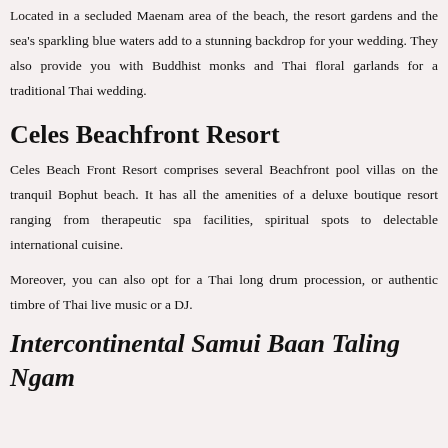Located in a secluded Maenam area of the beach, the resort gardens and the sea's sparkling blue waters add to a stunning backdrop for your wedding. They also provide you with Buddhist monks and Thai floral garlands for a traditional Thai wedding.
Celes Beachfront Resort
Celes Beach Front Resort comprises several Beachfront pool villas on the tranquil Bophut beach. It has all the amenities of a deluxe boutique resort ranging from therapeutic spa facilities, spiritual spots to delectable international cuisine.
Moreover, you can also opt for a Thai long drum procession, or authentic timbre of Thai live music or a DJ.
Intercontinental Samui Baan Taling Ngam